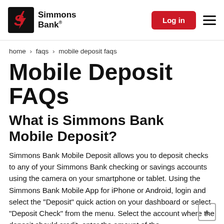Simmons Bank | Log in
home > faqs > mobile deposit faqs
Mobile Deposit FAQs
What is Simmons Bank Mobile Deposit?
Simmons Bank Mobile Deposit allows you to deposit checks to any of your Simmons Bank checking or savings accounts using the camera on your smartphone or tablet. Using the Simmons Bank Mobile App for iPhone or Android, login and select the "Deposit" quick action on your dashboard or select "Deposit Check" from the menu. Select the account where the deposit should credit, enter the amount of the